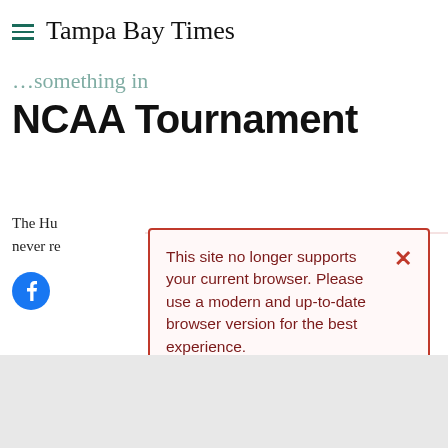Tampa Bay Times
NCAA Tournament
The Hu... never re...
[Figure (screenshot): Browser upgrade warning dialog: 'This site no longer supports your current browser. Please use a modern and up-to-date browser version for the best experience. Chrome – Firefox – Safari – Edge']